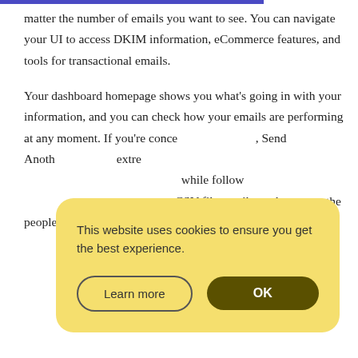matter the number of emails you want to see. You can navigate your UI to access DKIM information, eCommerce features, and tools for transactional emails.
Your dashboard homepage shows you what's going in with your information, and you can check how your emails are performing at any moment. If you're conce[rned about your deliverability,] Send[Grid's insights can help.] Anoth[er feature is] extre[mely useful —] follow[ing this you can import] CSV files easily, and segment the people you want to reach
[Figure (screenshot): Cookie consent popup with yellow background. Text reads: 'This website uses cookies to ensure you get the best experience.' Two buttons: 'Learn more' (outlined) and 'OK' (dark yellow/olive filled).]